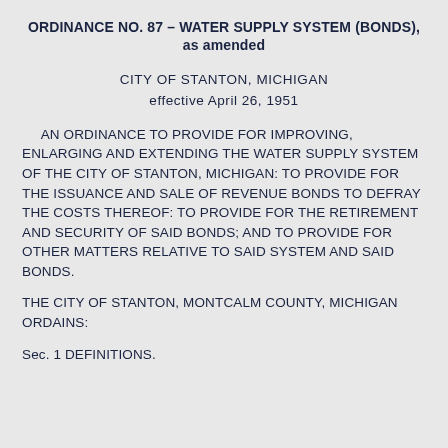ORDINANCE NO. 87 – WATER SUPPLY SYSTEM (BONDS), as amended
CITY OF STANTON, MICHIGAN
effective April 26, 1951
AN ORDINANCE TO PROVIDE FOR IMPROVING, ENLARGING AND EXTENDING THE WATER SUPPLY SYSTEM OF THE CITY OF STANTON, MICHIGAN: TO PROVIDE FOR THE ISSUANCE AND SALE OF REVENUE BONDS TO DEFRAY THE COSTS THEREOF: TO PROVIDE FOR THE RETIREMENT AND SECURITY OF SAID BONDS; AND TO PROVIDE FOR OTHER MATTERS RELATIVE TO SAID SYSTEM AND SAID BONDS.
THE CITY OF STANTON, MONTCALM COUNTY, MICHIGAN ORDAINS:
Sec. 1 DEFINITIONS.